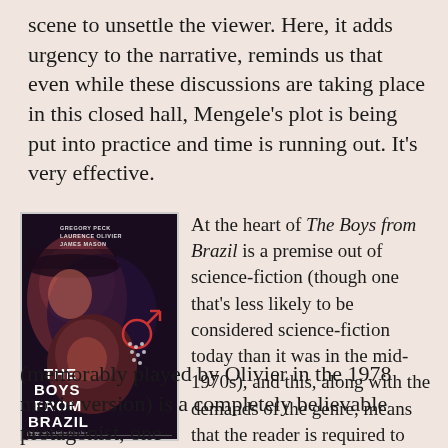scene to unsettle the viewer. Here, it adds urgency to the narrative, reminds us that even while these discussions are taking place in this closed hall, Mengele's plot is being put into practice and time is running out. It's very effective.
[Figure (photo): Movie poster for The Boys from Brazil featuring stylized faces of actors Gregory Peck, Laurence Olivier, and James Mason in dark red and blue tones, with a male symbol and DNA helix graphic]
At the heart of The Boys from Brazil is a premise out of science-fiction (though one that's less likely to be considered science-fiction today than it was in the mid-1970s), and this, along with the demands of the genre, means that the reader is required to suspend disbelief. But Liebermann (memorably played by Olivier in the 1978 movie version) is a completely believable protagonist, one